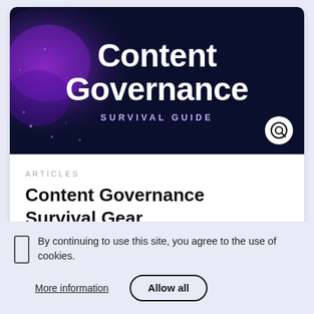[Figure (illustration): Dark navy hero banner with purple splash/smoke effect on left side. Large white bold text reads 'Content Governance' with subtitle 'SURVIVAL GUIDE' in purple. A circular logo icon (Q) appears bottom right.]
ARTICLES
Content Governance Survival Gear
By continuing to use this site, you agree to the use of cookies.
More information
Allow all